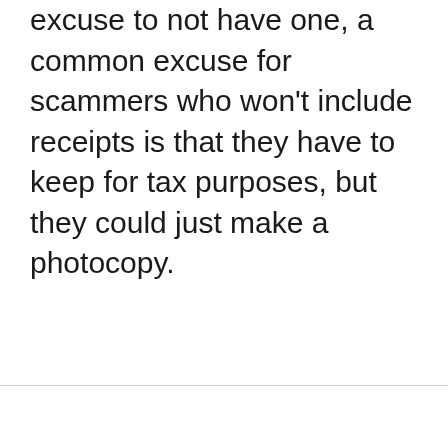excuse to not have one, a common excuse for scammers who won't include receipts is that they have to keep for tax purposes, but they could just make a photocopy.